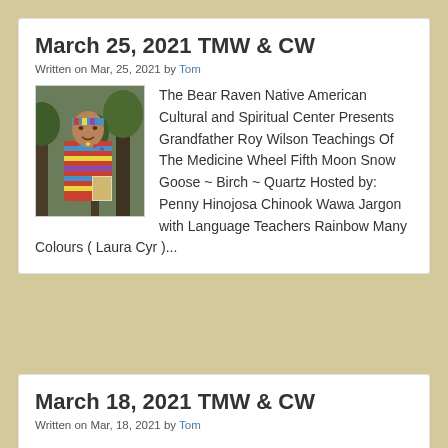March 25, 2021 TMW & CW
Written on Mar, 25, 2021 by Tom
[Figure (photo): Photo of a person wearing colorful Native American attire with headband, standing outdoors]
The Bear Raven Native American Cultural and Spiritual Center Presents Grandfather Roy Wilson Teachings Of The Medicine Wheel Fifth Moon Snow Goose ~ Birch ~ Quartz Hosted by: Penny Hinojosa Chinook Wawa Jargon  with Language Teachers Rainbow Many Colours ( Laura Cyr )...
March 18, 2021 TMW & CW
Written on Mar, 18, 2021 by Tom